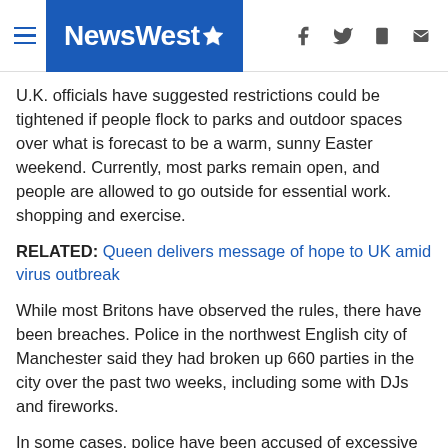NewsWest9
U.K. officials have suggested restrictions could be tightened if people flock to parks and outdoor spaces over what is forecast to be a warm, sunny Easter weekend. Currently, most parks remain open, and people are allowed to go outside for essential work. shopping and exercise.
RELATED: Queen delivers message of hope to UK amid virus outbreak
While most Britons have observed the rules, there have been breaches. Police in the northwest English city of Manchester said they had broken up 660 parties in the city over the past two weeks, including some with DJs and fireworks.
In some cases, police have been accused of excessive zeal. Nick Adderley, the chief of Northamptonshire Police in central England, said Thursday that his officers might have to set up roadblocks and start “checking the items in